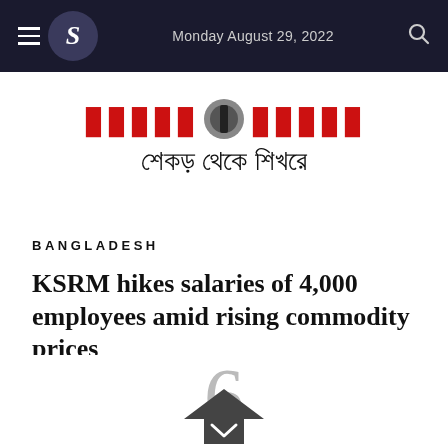Monday August 29, 2022
[Figure (logo): Newspaper logo with Bengali script text 'শেকড় থেকে শিখরে' and red banner text]
BANGLADESH
KSRM hikes salaries of 4,000 employees amid rising commodity prices
[Figure (illustration): Partially visible number 6 in gray and a downward arrow icon at the bottom of the page]